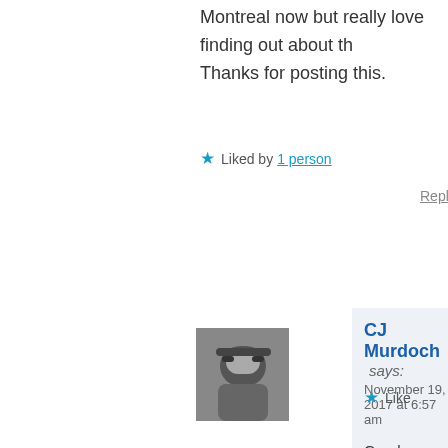Montreal now but really love finding out about th
Thanks for posting this.
★ Liked by 1 person
Reply
[Figure (photo): Black and white avatar photo of a person wearing sunglasses]
CJ Murdoch says:
November 19, 2017 at 6:57 am

Good morning Manus, it's really great Daisy in my tree as I follow all my fami I have it right your Lily (Elizabeth) McL you're interested, and would like to co you PDF files of our family. 🙂 Looking again. Colleen aka C.J.
★ Like
Reply